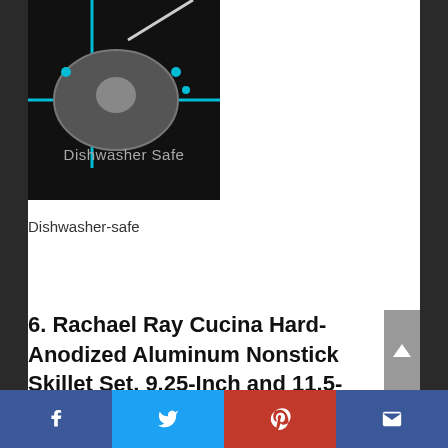[Figure (illustration): Dark background icon showing a frying pan/skillet in a dishwasher rack with blue crosshair lines and text 'Dishwasher Safe' in light gray on black background]
Dishwasher-safe
6. Rachael Ray Cucina Hard-Anodized Aluminum Nonstick Skillet Set, 9.25-Inch and 11.5-Inch, Gray/Agave Blue
Facebook | Twitter | Pinterest | Email